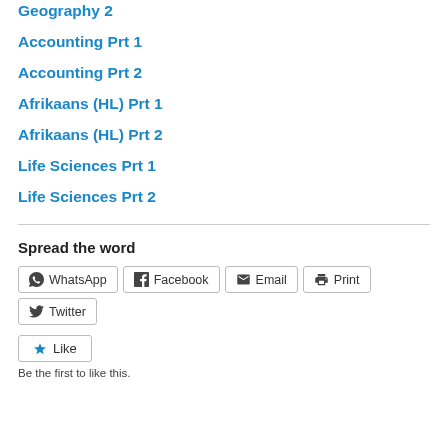Geography 2
Accounting Prt 1
Accounting Prt 2
Afrikaans (HL) Prt 1
Afrikaans (HL) Prt 2
Life Sciences Prt 1
Life Sciences Prt 2
Spread the word
WhatsApp  Facebook  Email  Print  Twitter
Like
Be the first to like this.